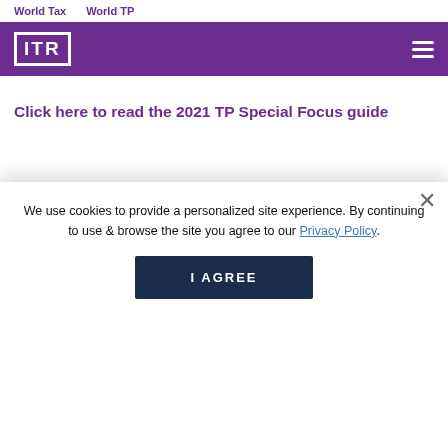World Tax   World TP
[Figure (logo): ITR logo — white text in white border box on purple background, with hamburger menu icon on right]
Click here to read the 2021 TP Special Focus guide
DS...   T: +33 1 53 67 50 00   Partner
[Figure (photo): Partially visible profile photo of a person, circular crop, muted purple-grey tones]
We use cookies to provide a personalized site experience. By continuing to use & browse the site you agree to our Privacy Policy.
I AGREE